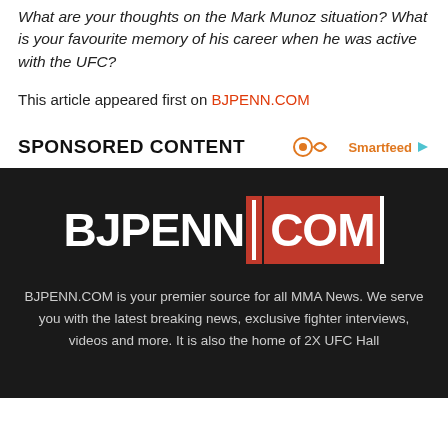What are your thoughts on the Mark Munoz situation? What is your favourite memory of his career when he was active with the UFC?
This article appeared first on BJPENN.COM
SPONSORED CONTENT
[Figure (logo): BJPENN.COM logo — BJPENN in white bold text, separator bar, .COM in white on red background]
BJPENN.COM is your premier source for all MMA News. We serve you with the latest breaking news, exclusive fighter interviews, videos and more. It is also the home of 2X UFC Hall